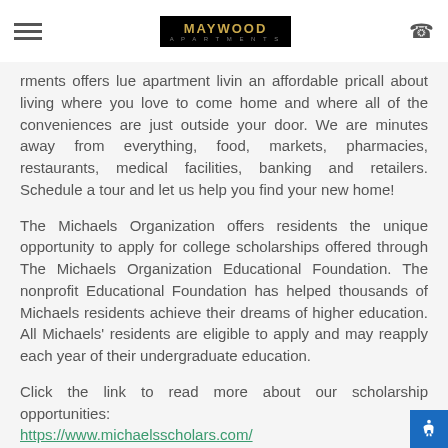Maywood Apartments - navigation header with hamburger menu, logo, and phone icon
rments offers lu...e apartment livin... an affordable pric...all about living where you love to come home and where all of the conveniences are just outside your door. We are minutes away from everything, food, markets, pharmacies, restaurants, medical facilities, banking and retailers. Schedule a tour and let us help you find your new home!
The Michaels Organization offers residents the unique opportunity to apply for college scholarships offered through The Michaels Organization Educational Foundation. The nonprofit Educational Foundation has helped thousands of Michaels residents achieve their dreams of higher education. All Michaels' residents are eligible to apply and may reapply each year of their undergraduate education.
Click the link to read more about our scholarship opportunities: https://www.michaelsscholars.com/